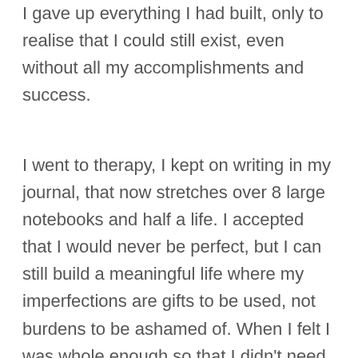I gave up everything I had built, only to realise that I could still exist, even without all my accomplishments and success.
I went to therapy, I kept on writing in my journal, that now stretches over 8 large notebooks and half a life. I accepted that I would never be perfect, but I can still build a meaningful life where my imperfections are gifts to be used, not burdens to be ashamed of. When I felt I was whole enough so that I didn't need anybody to come fill my inner emptiness, I found another person, also imperfect, broken and mended, just like myself – and together we brought into the